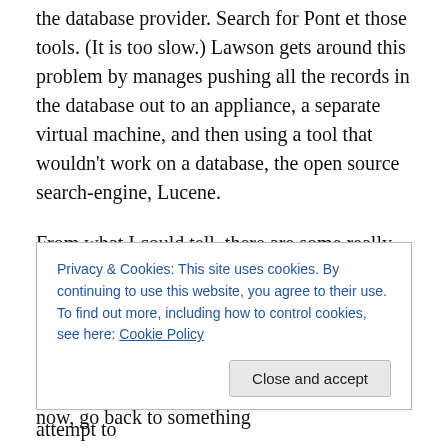the database provider. Search for Pont et those tools. (It is too slow.) Lawson gets around this problem by manages pushing all the records in the database out to an appliance, a separate virtual machine, and then using a tool that wouldn't work on a database, the open source search-engine, Lucene.
From what I could tell, there are some really thoughtful things in the way they've implemented the search. Particularly impressive was the fact that you can search back on all the work you've done, which makes it easier for you to stop in the middle now, go back to something
Privacy & Cookies: This site uses cookies. By continuing to use this website, you agree to their use.
To find out more, including how to control cookies, see here: Cookie Policy
a knock off of Duet, the much vaunted SAP attempt to